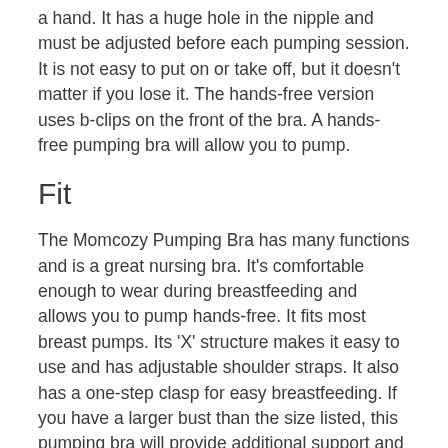a hand. It has a huge hole in the nipple and must be adjusted before each pumping session. It is not easy to put on or take off, but it doesn't matter if you lose it. The hands-free version uses b-clips on the front of the bra. A hands-free pumping bra will allow you to pump.
Fit
The Momcozy Pumping Bra has many functions and is a great nursing bra. It's comfortable enough to wear during breastfeeding and allows you to pump hands-free. It fits most breast pumps. Its 'X' structure makes it easy to use and has adjustable shoulder straps. It also has a one-step clasp for easy breastfeeding. If you have a larger bust than the size listed, this pumping bra will provide additional support and ease of use.